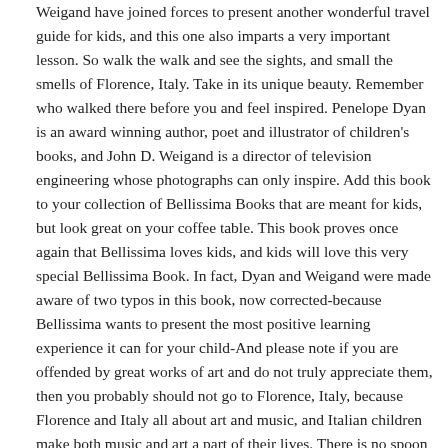Weigand have joined forces to present another wonderful travel guide for kids, and this one also imparts a very important lesson. So walk the walk and see the sights, and small the smells of Florence, Italy. Take in its unique beauty. Remember who walked there before you and feel inspired. Penelope Dyan is an award winning author, poet and illustrator of children's books, and John D. Weigand is a director of television engineering whose photographs can only inspire. Add this book to your collection of Bellissima Books that are meant for kids, but look great on your coffee table. This book proves once again that Bellissima loves kids, and kids will love this very special Bellissima Book. In fact, Dyan and Weigand were made aware of two typos in this book, now corrected-because Bellissima wants to present the most positive learning experience it can for your child-And please note if you are offended by great works of art and do not truly appreciate them, then you probably should not go to Florence, Italy, because Florence and Italy all about art and music, and Italian children make both music and art a part of their lives. There is no spoon feeding with these books, and they are meant to be added to the same way one adds to a college textbook-and even the youngest child should ask questions so they can learn all they can learn and be all they can be This is a picture book aimed at the younger pre-school and kindergarten set, but even older children can make this book their own, because kids like to have fun and lots of it This book and other Dyan